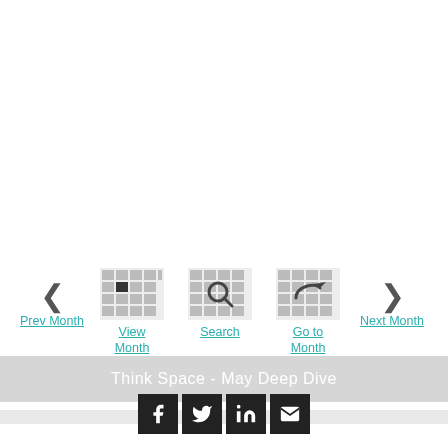[Figure (screenshot): Navigation bar with Prev Month (left arrow), View Month (grid icon), Search (magnifier icon), Go to Month (arrow icon), Next Month (right arrow) — all with teal underlined labels]
Think Space - May Deep Dive
[Figure (infographic): Social sharing icons: Facebook, Twitter, LinkedIn, Email — black square buttons with white icons]